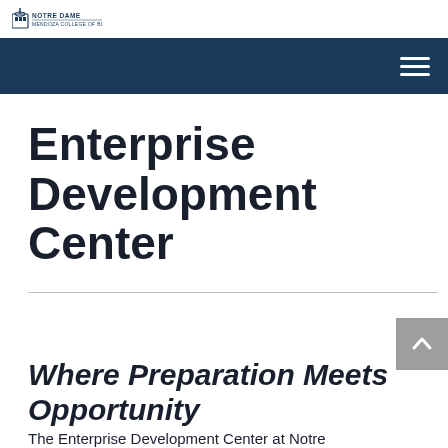Notre Dame
Enterprise Development Center
Where Preparation Meets Opportunity
The Enterprise Development Center at Notre